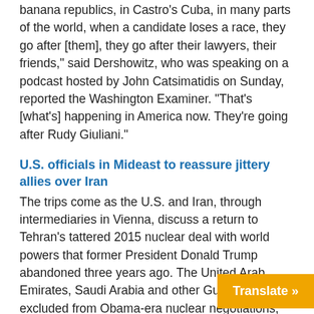banana republics, in Castro's Cuba, in many parts of the world, when a candidate loses a race, they go after [them], they go after their lawyers, their friends," said Dershowitz, who was speaking on a podcast hosted by John Catsimatidis on Sunday, reported the Washington Examiner. "That's [what's] happening in America now. They're going after Rudy Giuliani."
U.S. officials in Mideast to reassure jittery allies over Iran
The trips come as the U.S. and Iran, through intermediaries in Vienna, discuss a return to Tehran's tattered 2015 nuclear deal with world powers that former President Donald Trump abandoned three years ago. The United Arab Emirates, Saudi Arabia and other Gulf allies, excluded from Obama-era nuclear negotiations, have repeatedly pressed for a seat at the table, insisting that any return to the accord must address Iran's ballistic missile program and support for regional proxies.
FBI agents shoot intruder near entrance to
A suspected intruder who was stopped by